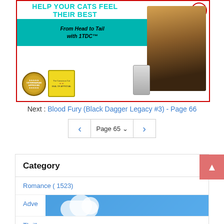[Figure (illustration): Advertisement for 1TDC cat supplement product. Teal background bar with italic text 'From Head to Tail with 1TDC™'. Shows a fluffy cat, a supplement bottle, Veterinarian Approved badge, and The Conscious Cat seal of approval badge. Top text reads 'HELP YOUR CATS FEEL THEIR BEST' in teal letters.]
Next : Blood Fury (Black Dagger Legacy #3) - Page 66
Page 65
Category
Romance ( 1523)
Adventure
Thriller